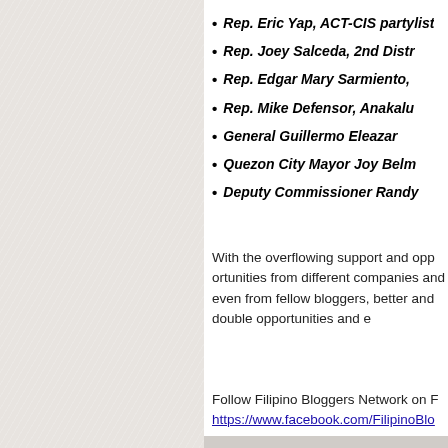Rep. Eric Yap, ACT-CIS partylist
Rep. Joey Salceda, 2nd District
Rep. Edgar Mary Sarmiento,
Rep. Mike Defensor, Anakalus
General Guillermo Eleazar
Quezon City Mayor Joy Belm
Deputy Commissioner Randy
With the overflowing support and opportunities from different companies and even from fellow bloggers, better and double opportunities and e
Follow Filipino Bloggers Network on F https://www.facebook.com/FilipinoBlo